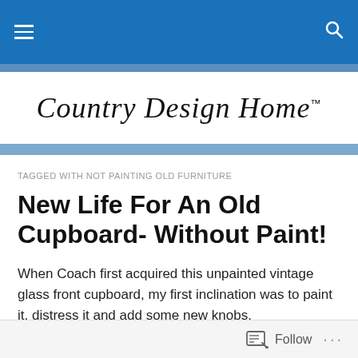Country Design Home™ — navigation bar with hamburger menu and search icon
Country Design Home™
TAGGED WITH NOT PAINTING OLD FURNITURE
New Life For An Old Cupboard- Without Paint!
When Coach first acquired this unpainted vintage glass front cupboard, my first inclination was to paint it, distress it and add some new knobs.
Vintage Glass Cupboard Before
Follow ···